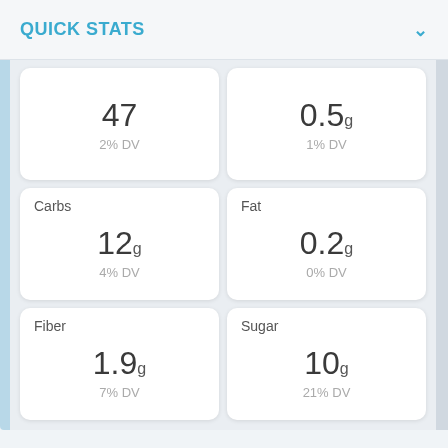QUICK STATS
| Nutrient | Amount | % DV |
| --- | --- | --- |
|  | 47 | 2% DV |
|  | 0.5g | 1% DV |
| Carbs | 12g | 4% DV |
| Fat | 0.2g | 0% DV |
| Fiber | 1.9g | 7% DV |
| Sugar | 10g | 21% DV |